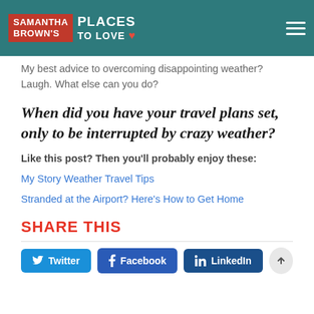Samantha Brown's Places to Love
My best advice to overcoming disappointing weather? Laugh. What else can you do?
When did you have your travel plans set, only to be interrupted by crazy weather?
Like this post? Then you'll probably enjoy these:
My Story Weather Travel Tips
Stranded at the Airport? Here's How to Get Home
SHARE THIS
[Figure (other): Social share buttons: Twitter, Facebook, LinkedIn]